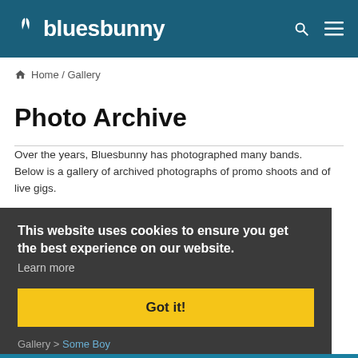bluesbunny
Home / Gallery
Photo Archive
Over the years, Bluesbunny has photographed many bands. Below is a gallery of archived photographs of promo shoots and of live gigs.
This website uses cookies to ensure you get the best experience on our website. Learn more
Got it!
Gallery > Some Boy